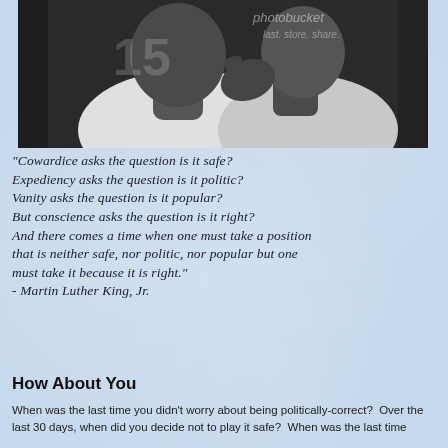[Figure (photo): Black and white photograph of Martin Luther King Jr. in close-up, with a photobucket watermark overlay reading 'last. store. share.']
"Cowardice asks the question is it safe? Expediency asks the question is it politic? Vanity asks the question is it popular? But conscience asks the question is it right? And there comes a time when one must take a position that is neither safe, nor politic, nor popular but one must take it because it is right." - Martin Luther King, Jr.
How About You
When was the last time you didn't worry about being politically-correct?  Over the last 30 days, when did you decide not to play it safe?  When was the last time